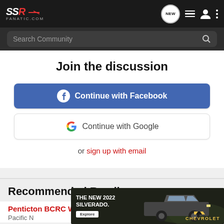SSR Fanatic.com — Navigation bar with logo, NEW chat, list, user, and menu icons
Search Community
Join the discussion
Continue with Facebook
Continue with Google
or sign up with email
Recommended Reading
Penticton BCRC Winding Road Tour
Pacific N
[Figure (screenshot): Chevrolet Silverado 2022 advertisement banner showing a dark truck in a field with text 'THE NEW 2022 SILVERADO.' and an Explore button, with Chevrolet logo.]